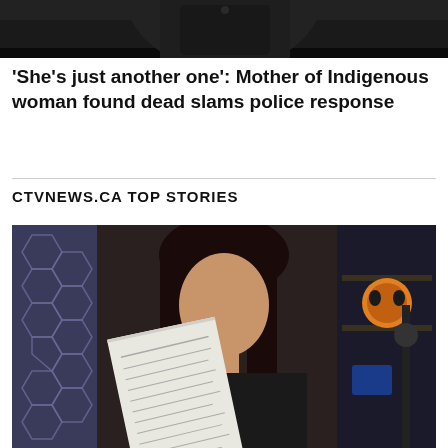[Figure (photo): Partial photo of a person in dark clothing, cropped at top of page]
'She's just another one': Mother of Indigenous woman found dead slams police response
CTVNEWS.CA TOP STORIES
[Figure (photo): Woman with dark hair holding up a document/paper, sitting in a room with hexagonal LED lights on the left, shelves and a microphone visible in the background]